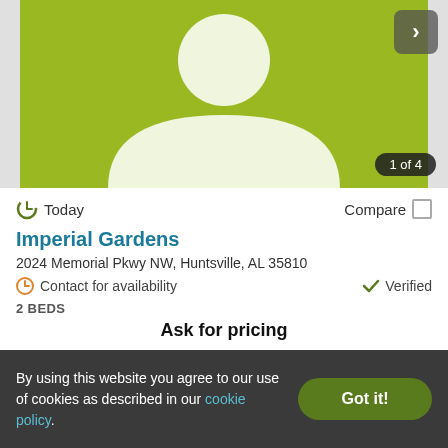[Figure (illustration): Green placeholder image with white silhouette of a person (head and shoulders), representing an apartment listing photo. A dark forward navigation button (chevron) is in the top-right corner. An image counter badge '1 of 4' is in the bottom-right corner.]
Today
Compare
Imperial Gardens
2024 Memorial Pkwy NW, Huntsville, AL 35810
Contact for availability
Verified
2 BEDS
Ask for pricing
View Details
Contact Property
By using this website you agree to our use of cookies as described in our cookie policy.
Got it!